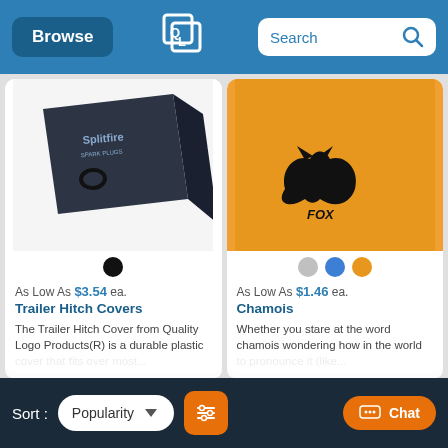Browse | [Logo] | Search
[Figure (photo): Dark colored Splitfire spark plug product box shown at an angle]
As Low As $3.54 ea.
Trailer Hitch Covers
The Trailer Hitch Cover from Quality Logo Products(R) is a durable plastic cover that fits over most...
[Figure (photo): Orange/yellow chamois cloth with Fox brand logo in black]
As Low As $1.46 ea.
Chamois
Whether you stare at the word chamois wondering how in the world to pronounce it (like...
Sort: Popularity [dropdown] [filter icon] [Chat button]